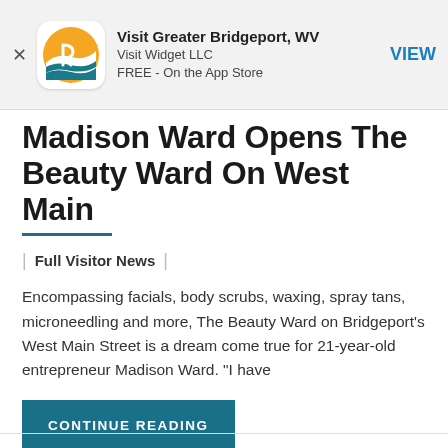[Figure (screenshot): App Store ad banner for 'Visit Greater Bridgeport, WV' by Visit Widget LLC, FREE on the App Store, with a circular logo (orange and teal) and a blue VIEW button]
Madison Ward Opens The Beauty Ward On West Main
Full Visitor News
Encompassing facials, body scrubs, waxing, spray tans, microneedling and more, The Beauty Ward on Bridgeport's West Main Street is a dream come true for 21-year-old entrepreneur Madison Ward. "I have
CONTINUE READING